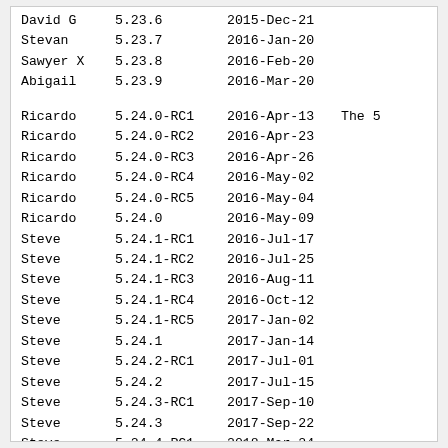| Name | Version | Date | Note |
| --- | --- | --- | --- |
| David G | 5.23.6 | 2015-Dec-21 |  |
| Stevan | 5.23.7 | 2016-Jan-20 |  |
| Sawyer X | 5.23.8 | 2016-Feb-20 |  |
| Abigail | 5.23.9 | 2016-Mar-20 |  |
|  |  |  |  |
| Ricardo | 5.24.0-RC1 | 2016-Apr-13 | The 5 |
| Ricardo | 5.24.0-RC2 | 2016-Apr-23 |  |
| Ricardo | 5.24.0-RC3 | 2016-Apr-26 |  |
| Ricardo | 5.24.0-RC4 | 2016-May-02 |  |
| Ricardo | 5.24.0-RC5 | 2016-May-04 |  |
| Ricardo | 5.24.0 | 2016-May-09 |  |
| Steve | 5.24.1-RC1 | 2016-Jul-17 |  |
| Steve | 5.24.1-RC2 | 2016-Jul-25 |  |
| Steve | 5.24.1-RC3 | 2016-Aug-11 |  |
| Steve | 5.24.1-RC4 | 2016-Oct-12 |  |
| Steve | 5.24.1-RC5 | 2017-Jan-02 |  |
| Steve | 5.24.1 | 2017-Jan-14 |  |
| Steve | 5.24.2-RC1 | 2017-Jul-01 |  |
| Steve | 5.24.2 | 2017-Jul-15 |  |
| Steve | 5.24.3-RC1 | 2017-Sep-10 |  |
| Steve | 5.24.3 | 2017-Sep-22 |  |
| Steve | 5.24.4-RC1 | 2018-Mar-24 |  |